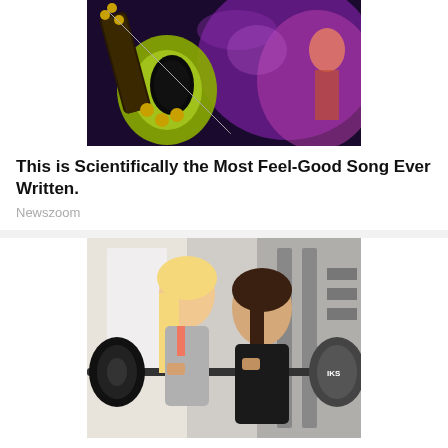[Figure (photo): Close-up photo of an electric guitar with yellow and black design, with purple stage lighting and a performer in the background]
This is Scientifically the Most Feel-Good Song Ever Written.
Newszoom
[Figure (photo): Two women in a gym, one blonde in a pink tank top and one brunette in a black top, lifting barbells with weight plates]
These Outfits Will Motivate You to Get